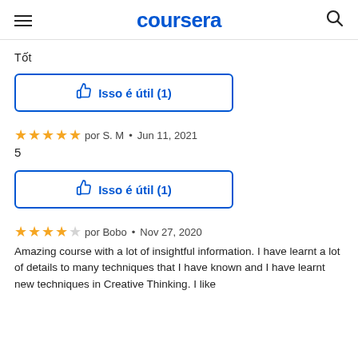coursera
Tốt
Isso é útil (1)
por S. M • Jun 11, 2021
5
Isso é útil (1)
por Bobo • Nov 27, 2020
Amazing course with a lot of insightful information. I have learnt a lot of details to many techniques that I have known and I have learnt new techniques in Creative Thinking. I like